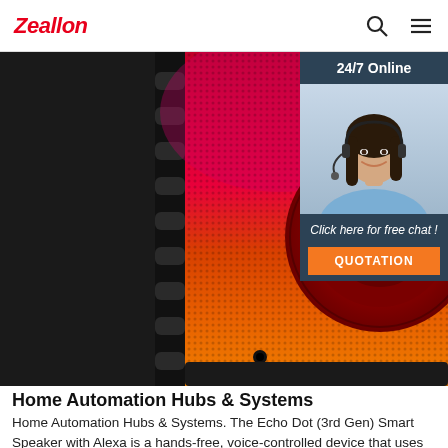Zeallon
[Figure (photo): Close-up photo of a portable Bluetooth speaker (model HF-2163) with a red and orange gradient illuminated mesh grille, black rugged side panels, and a circular speaker cone in the center. The speaker appears to have colorful LED lighting effects creating a red-to-orange gradient.]
[Figure (photo): Chat widget overlay showing '24/7 Online' header, a female customer service agent wearing a headset and smiling, text 'Click here for free chat!' and an orange QUOTATION button]
Home Automation Hubs & Systems
Home Automation Hubs & Systems. The Echo Dot (3rd Gen) Smart Speaker with Alexa is a hands-free, voice-controlled device that uses Alexa to play music, control smart home devices, provide